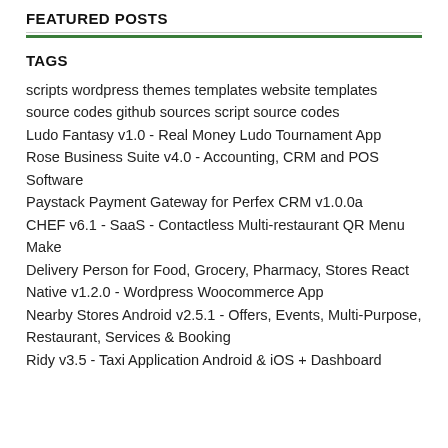FEATURED POSTS
scripts wordpress themes templates website templates source codes github sources script source codes
Ludo Fantasy v1.0 - Real Money Ludo Tournament App
Rose Business Suite v4.0 - Accounting, CRM and POS Software
Paystack Payment Gateway for Perfex CRM v1.0.0a
CHEF v6.1 - SaaS - Contactless Multi-restaurant QR Menu Make
Delivery Person for Food, Grocery, Pharmacy, Stores React Native v1.2.0 - Wordpress Woocommerce App
Nearby Stores Android v2.5.1 - Offers, Events, Multi-Purpose, Restaurant, Services & Booking
Ridy v3.5 - Taxi Application Android & iOS + Dashboard